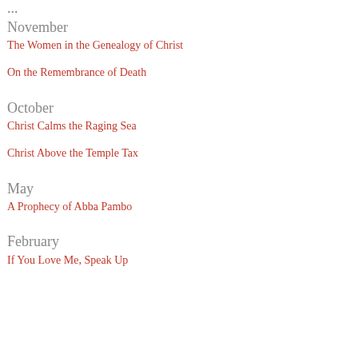...
November
The Women in the Genealogy of Christ
On the Remembrance of Death
October
Christ Calms the Raging Sea
Christ Above the Temple Tax
May
A Prophecy of Abba Pambo
February
If You Love Me, Speak Up